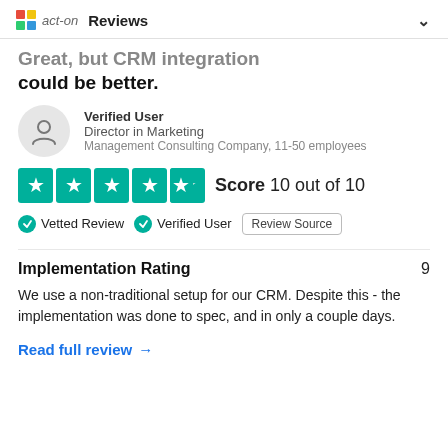act-on   Reviews
Great, but CRM integration could be better.
Verified User
Director in Marketing
Management Consulting Company, 11-50 employees
[Figure (other): 5 teal star rating boxes with Score 10 out of 10]
✓ Vetted Review   ✓ Verified User   Review Source
Implementation Rating   9
We use a non-traditional setup for our CRM. Despite this - the implementation was done to spec, and in only a couple days.
Read full review →